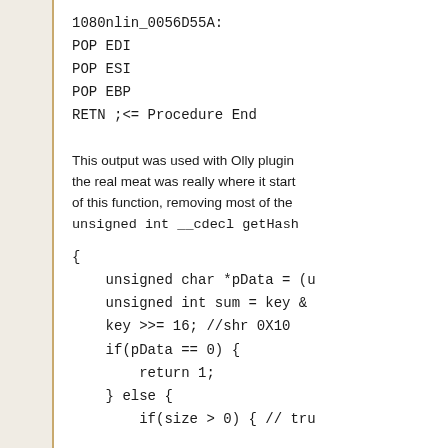1080nlin_0056D55A:
POP EDI
POP ESI
POP EBP
RETN ;<= Procedure End
This output was used with Olly plugin the real meat was really where it start of this function, removing most of the unsigned int __cdecl getHash
{
    unsigned char *pData = (u
    unsigned int sum = key &
    key >>= 16; //shr 0X10
    if(pData == 0) {
        return 1;
    } else {
        if(size > 0) { // tru